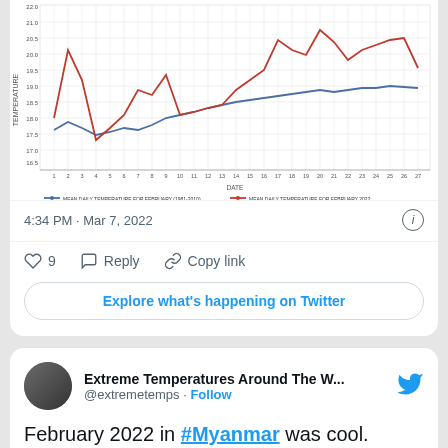[Figure (continuous-plot): Line chart showing mean daily temperature for February (1981-2010) in gray/blue and February 2022 in red, plotted over days 1-28. The 2022 line (red) fluctuates more and is generally higher with peaks and valleys, while the historical average (gray/blue) is smoother. X-axis labeled DATE, Y-axis labeled TEMPERATURE.]
4:34 PM · Mar 7, 2022
9  Reply  Copy link
Explore what's happening on Twitter
Extreme Temperatures Around The W...
@extremetemps · Follow
February 2022 in #Myanmar was cool. Temperature anomaly was -1.13C below average. Some unseasonal rainfalls fell in the first part of the month, while the